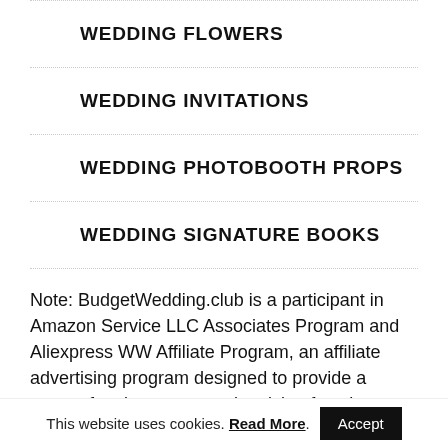WEDDING FLOWERS
WEDDING INVITATIONS
WEDDING PHOTOBOOTH PROPS
WEDDING SIGNATURE BOOKS
Note: BudgetWedding.club is a participant in Amazon Service LLC Associates Program and Aliexpress WW Affiliate Program, an affiliate advertising program designed to provide a means for sites to earn advertising fees by advertising and linking to Amazon.com and Aliexpress.
This website uses cookies. Read More. Accept